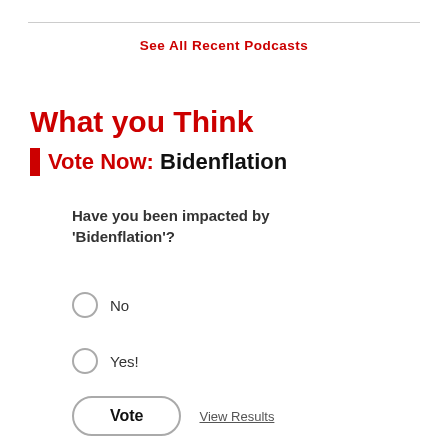See All Recent Podcasts
What you Think
Vote Now: Bidenflation
Have you been impacted by 'Bidenflation'?
No
Yes!
Vote
View Results